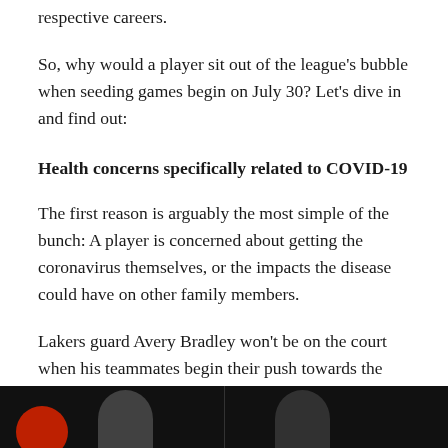respective careers.
So, why would a player sit out of the league's bubble when seeding games begin on July 30? Let's dive in and find out:
Health concerns specifically related to COVID-19
The first reason is arguably the most simple of the bunch: A player is concerned about getting the coronavirus themselves, or the impacts the disease could have on other family members.
Lakers guard Avery Bradley won't be on the court when his teammates begin their push towards the NBA Finals, telling ESPN's Adrian Wojnarowski that his son's past respiratory issues make it a tricky situation to maneuver through.
[Figure (photo): Dark image strip at the bottom showing two partial figures against a black background, one with a red element on the left side.]